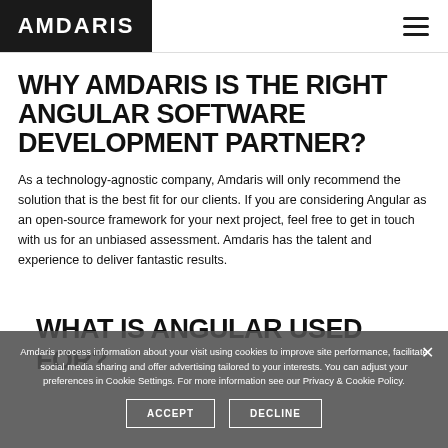AMDARIS
WHY AMDARIS IS THE RIGHT ANGULAR SOFTWARE DEVELOPMENT PARTNER?
As a technology-agnostic company, Amdaris will only recommend the solution that is the best fit for our clients. If you are considering Angular as an open-source framework for your next project, feel free to get in touch with us for an unbiased assessment. Amdaris has the talent and experience to deliver fantastic results.
Amdaris process information about your visit using cookies to improve site performance, facilitate social media sharing and offer advertising tailored to your interests. You can adjust your preferences in Cookie Settings. For more information see our Privacy & Cookie Policy.
WHAT IS ANGULAR USED FOR?